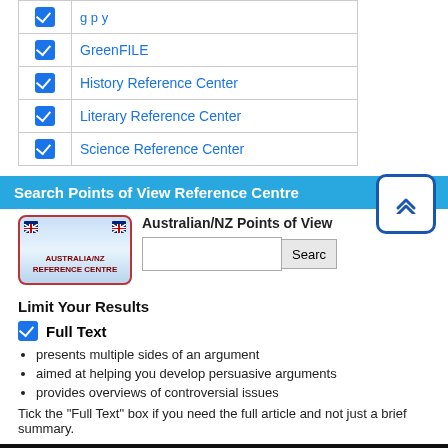|  | Database |
| --- | --- |
| ✓ | GreenFILE |
| ✓ | History Reference Center |
| ✓ | Literary Reference Center |
| ✓ | Science Reference Center |
Search Points of View Reference Centre
[Figure (logo): Australia/NZ Reference Centre logo with red border and blue map background]
Australian/NZ Points of View
Limit Your Results
Full Text
presents multiple sides of an argument
aimed at helping you develop persuasive arguments
provides overviews of controversial issues
Tick the "Full Text" box if you need the full article and not just a brief summary.